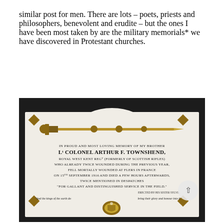similar post for men. There are lots – poets, priests and philosophers, benevolent and erudite – but the ones I have been most taken by are the military memorials* we have discovered in Protestant churches.
[Figure (photo): Photograph of a white marble memorial plaque with brass sword and military insignia mounted above. The plaque reads: IN PROUD AND MOST LOVING MEMORY OF MY BROTHER Lt COLONEL ARTHUR F. TOWNSHEND, ROYAL WEST KENT REGT (FORMERLY OF SCOTTISH RIFLES) WHO ALREADY TWICE WOUNDED DURING THE PREVIOUS YEAR, FELL MORTALLY WOUNDED AT FLERS IN FRANCE ON 15th SEPTEMBER 1916 AND DIED A FEW HOURS AFTERWARDS. TWICE MENTIONED IN DESPATCHES "FOR GALLANT AND DISTINGUISHED SERVICE IN THE FIELD." ERECTED BY HIS SISTER SYLVI[A] "And the kings of the earth do bring their glory and honour into it." with a heraldic crest at the bottom.]